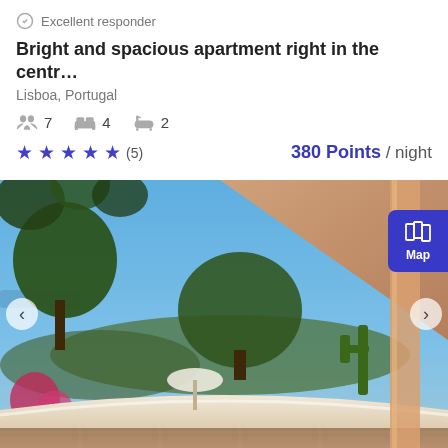Excellent responder
Bright and spacious apartment right in the centr…
Lisboa, Portugal
7  4  2
★★★★★ (5)   380 Points / night
[Figure (photo): Outdoor terrace/garden photo showing trees, blue sky, white bench/wall seating area, cactus plants, pink flowers, and a terracotta-colored roof overhang with a map button overlay and left/right navigation arrows]